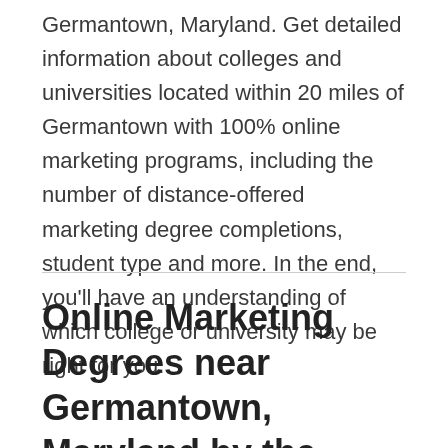Germantown, Maryland. Get detailed information about colleges and universities located within 20 miles of Germantown with 100% online marketing programs, including the number of distance-offered marketing degree completions, student type and more. In the end, you'll have an understanding of which college or university may be right for you.
Online Marketing Degrees near Germantown, Maryland by the Numbers